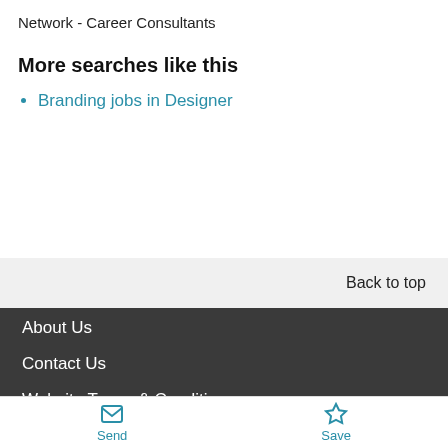Network - Career Consultants
More searches like this
Branding jobs in Designer
Back to top
About Us
Contact Us
Website Terms & Conditions
Privacy Policy
Send  Save